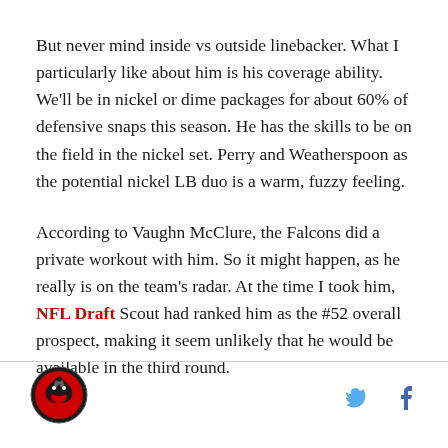But never mind inside vs outside linebacker. What I particularly like about him is his coverage ability. We'll be in nickel or dime packages for about 60% of defensive snaps this season. He has the skills to be on the field in the nickel set. Perry and Weatherspoon as the potential nickel LB duo is a warm, fuzzy feeling.
According to Vaughn McClure, the Falcons did a private workout with him. So it might happen, as he really is on the team's radar. At the time I took him, NFL Draft Scout had ranked him as the #52 overall prospect, making it seem unlikely that he would be available in the third round.
[Figure (logo): Atlanta Falcons style logo — circular badge with bird]
[Figure (illustration): Twitter and Facebook social media icons]